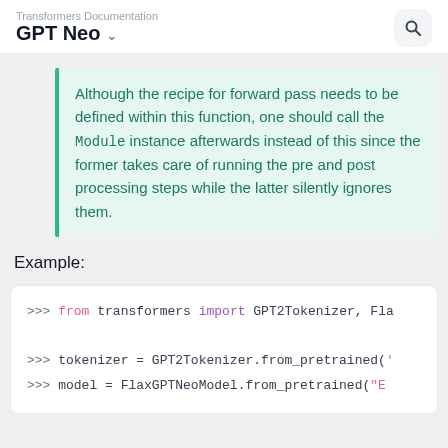Transformers Documentation
GPT Neo
Although the recipe for forward pass needs to be defined within this function, one should call the Module instance afterwards instead of this since the former takes care of running the pre and post processing steps while the latter silently ignores them.
Example:
>>> from transformers import GPT2Tokenizer, Fl...
>>> tokenizer = GPT2Tokenizer.from_pretrained('...
>>> model = FlaxGPTNeoModel.from_pretrained("E...